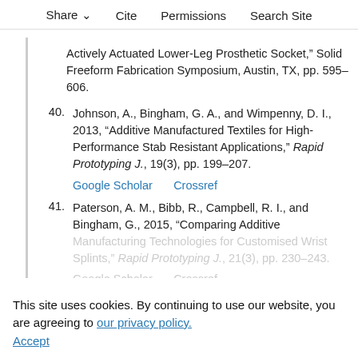Share  Cite  Permissions  Search Site
Actively Actuated Lower-Leg Prosthetic Socket,” Solid Freeform Fabrication Symposium, Austin, TX, pp. 595–606.
40. Johnson, A., Bingham, G. A., and Wimpenny, D. I., 2013, “Additive Manufactured Textiles for High-Performance Stab Resistant Applications,” Rapid Prototyping J., 19(3), pp. 199–207.
Google Scholar   Crossref
41. Paterson, A. M., Bibb, R., Campbell, R. I., and Bingham, G., 2015, “Comparing Additive Manufacturing Technologies for Customised Wrist Splints,” Rapid Prototyping J., 21(3), pp. 230–243.
This site uses cookies. By continuing to use our website, you are agreeing to our privacy policy. Accept